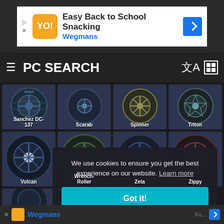[Figure (screenshot): Advertisement banner: Easy Back to School Snacking - Wegmans]
PC SEARCH
[Figure (screenshot): Grid of car wheel items: Sanchez DC-137, Scarab, Spinner, Triton (top row); Vulcan, Wrench-Roller, Zeta, Zippy (middle row); Alc... (partial, bottom row)]
We use cookies to ensure you get the best experience on our website. Learn more
Got it!
[Figure (screenshot): Bottom advertisement banner - Wegmans]